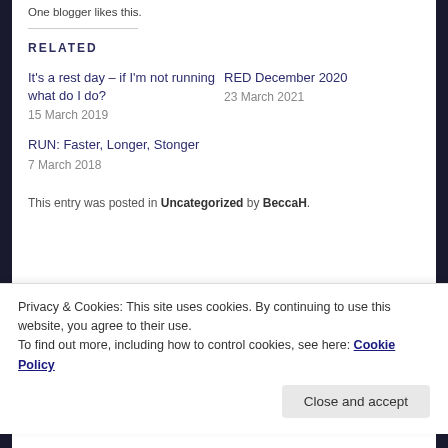One blogger likes this.
RELATED
It's a rest day – if I'm not running what do I do?
15 March 2019
RED December 2020
23 March 2021
RUN: Faster, Longer, Stonger
7 March 2018
This entry was posted in Uncategorized by BeccaH.
Privacy & Cookies: This site uses cookies. By continuing to use this website, you agree to their use.
To find out more, including how to control cookies, see here: Cookie Policy